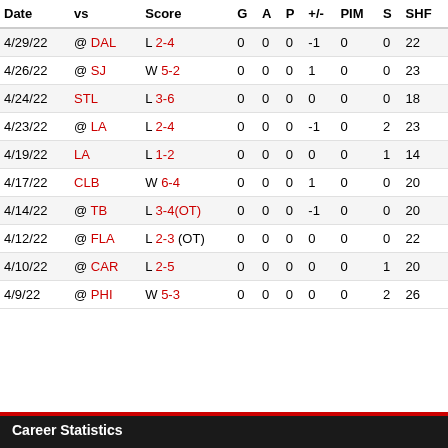| Date | vs | Score | G | A | P | +/- | PIM | S | SHF |
| --- | --- | --- | --- | --- | --- | --- | --- | --- | --- |
| 4/29/22 | @ DAL | L 2-4 | 0 | 0 | 0 | -1 | 0 | 0 | 22 |
| 4/26/22 | @ SJ | W 5-2 | 0 | 0 | 0 | 1 | 0 | 0 | 23 |
| 4/24/22 | STL | L 3-6 | 0 | 0 | 0 | 0 | 0 | 0 | 18 |
| 4/23/22 | @ LA | L 2-4 | 0 | 0 | 0 | -1 | 0 | 2 | 23 |
| 4/19/22 | LA | L 1-2 | 0 | 0 | 0 | 0 | 0 | 1 | 14 |
| 4/17/22 | CLB | W 6-4 | 0 | 0 | 0 | 1 | 0 | 0 | 20 |
| 4/14/22 | @ TB | L 3-4(OT) | 0 | 0 | 0 | -1 | 0 | 0 | 20 |
| 4/12/22 | @ FLA | L 2-3 (OT) | 0 | 0 | 0 | 0 | 0 | 0 | 22 |
| 4/10/22 | @ CAR | L 2-5 | 0 | 0 | 0 | 0 | 0 | 1 | 20 |
| 4/9/22 | @ PHI | W 5-3 | 0 | 0 | 0 | 0 | 0 | 2 | 26 |
Career Statistics